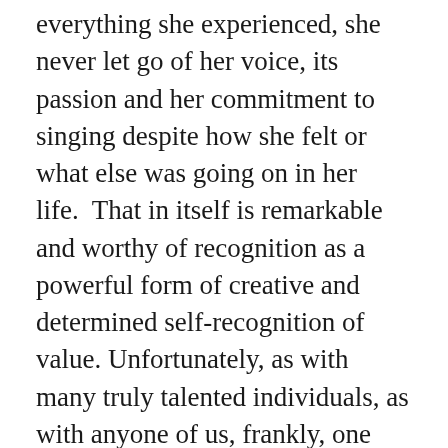everything she experienced, she never let go of her voice, its passion and her commitment to singing despite how she felt or what else was going on in her life.  That in itself is remarkable and worthy of recognition as a powerful form of creative and determined self-recognition of value. Unfortunately, as with many truly talented individuals, as with anyone of us, frankly, one positive aspect of one's life does not necessarily colour those other parts of ourselves that may be negative. After all, who among us can claim to be fully integrated and cohesive selves.  Yet this characteristic failure (a decidedly human